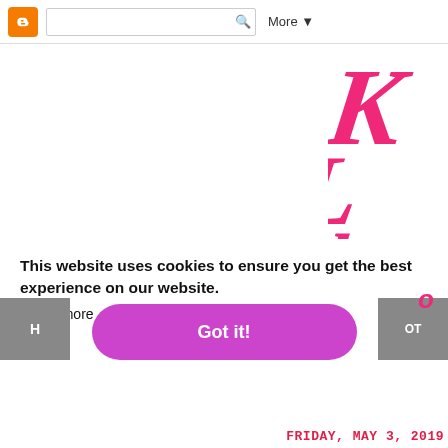Blogger navigation bar with search box and More button
[Figure (screenshot): Partial pink handwritten/script text visible on right side of page, showing large cursive letters in hot pink]
This website uses cookies to ensure you get the best experience on our website.
Learn more
Got it!
[Figure (illustration): Teal/green illustrated characters or figures partially visible at bottom left]
FRIDAY, MAY 3, 2019